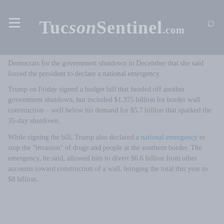TucsonSentinel.com
Democrats for the government shutdown in December that she said forced the president to declare a national emergency.
Trump on Friday signed a budget bill that headed off another government shutdown, but included $1.375 billion for border wall construction – well below his demand for $5.7 billion that sparked the 35-day shutdown.
While signing the bill, Trump also declared a national emergency to stop the "invasion" of drugs and people at the southern border. The emergency, he said, allowed him to divert $6.6 billion from other accounts toward construction of a wall, bringing the total this year to $8 billion.